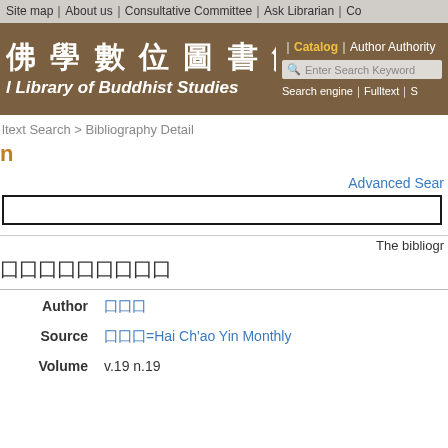Site map｜About us｜Consultative Committee｜Ask Librarian｜Co
[Figure (screenshot): Buddhist Studies Digital Library header banner with Chinese characters 佛學數位圖書館 and English subtitle 'l Library of Buddhist Studies', with search bar and navigation links including Catalog, Author Authority, Search engine, Fulltext]
ltext Search > Bibliography Detail
n
Advanced Sear
The bibliogr
囗囗囗囗囗囗囗囗囗
| Field | Value |
| --- | --- |
| Author | 囗囗囗 |
| Source | 囗囗囗=Hai Ch'ao Yin Monthly |
| Volume | v.19 n.19 |